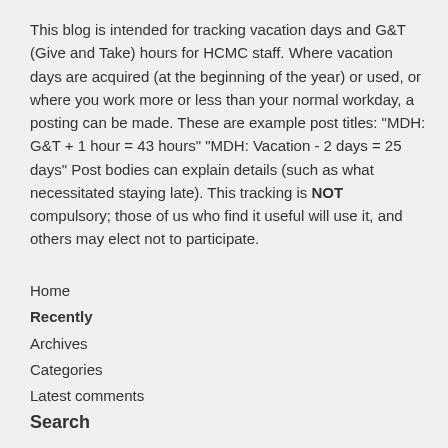This blog is intended for tracking vacation days and G&T (Give and Take) hours for HCMC staff. Where vacation days are acquired (at the beginning of the year) or used, or where you work more or less than your normal workday, a posting can be made. These are example post titles: "MDH: G&T + 1 hour = 43 hours" "MDH: Vacation - 2 days = 25 days" Post bodies can explain details (such as what necessitated staying late). This tracking is NOT compulsory; those of us who find it useful will use it, and others may elect not to participate.
Home
Recently
Archives
Categories
Latest comments
Search